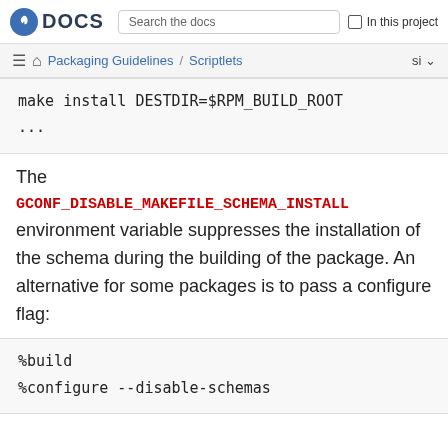Fedora DOCS | Search the docs | In this project
Packaging Guidelines / Scriptlets  si
make install DESTDIR=$RPM_BUILD_ROOT
...
The GCONF_DISABLE_MAKEFILE_SCHEMA_INSTALL environment variable suppresses the installation of the schema during the building of the package. An alternative for some packages is to pass a configure flag:
%build
%configure --disable-schemas